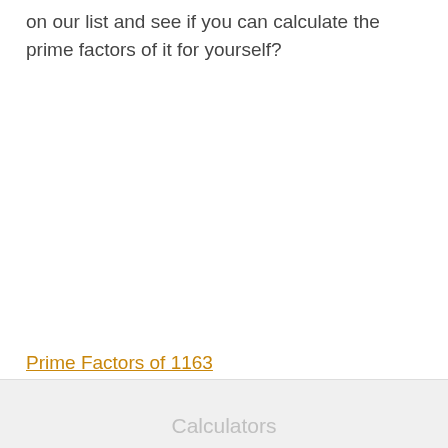on our list and see if you can calculate the prime factors of it for yourself?
Prime Factors of 1163
Calculators